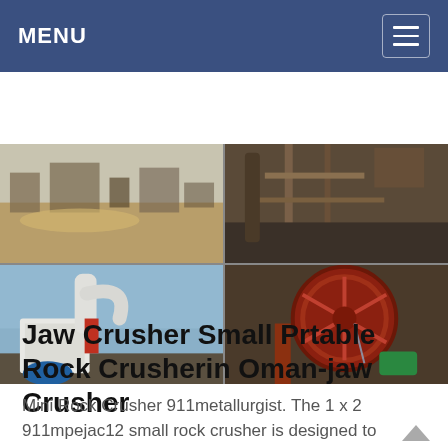MENU
[Figure (photo): 2x2 grid of four industrial mining/crushing equipment photos: top-left shows open-air stone crushing facility with machinery and materials piles; top-right shows industrial conveyor and processing equipment structure; bottom-left shows a white industrial grinding mill machine with cyclone separator and blue components; bottom-right shows a large red-painted industrial sand washing wheel machine with motor.]
Jaw Crusher Small Prtable Rock Crusherin Oman-jaw Crusher
Mini Rock Crusher 911metallurgist. The 1 x 2 911mpejac12 small rock crusher is designed to finely crush rock and stone like aggregates or your favourite ore type gold silver copper etc from 34 20mm feed size down